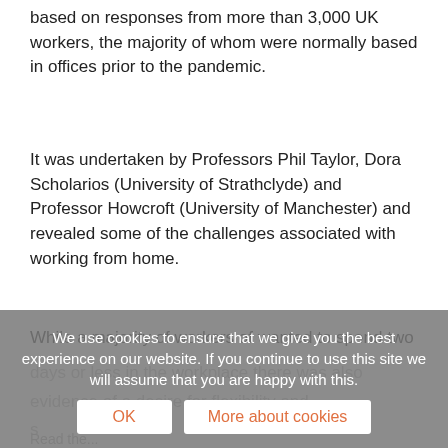based on responses from more than 3,000 UK workers, the majority of whom were normally based in offices prior to the pandemic.
It was undertaken by Professors Phil Taylor, Dora Scholarios (University of Strathclyde) and Professor Howcroft (University of Manchester) and revealed some of the challenges associated with working from home.
While a majority of workers of wanted to spend two days or less in the workplace there was also...
We use cookies to ensure that we give you the best experience on our website. If you continue to use this site we will assume that you are happy with this.